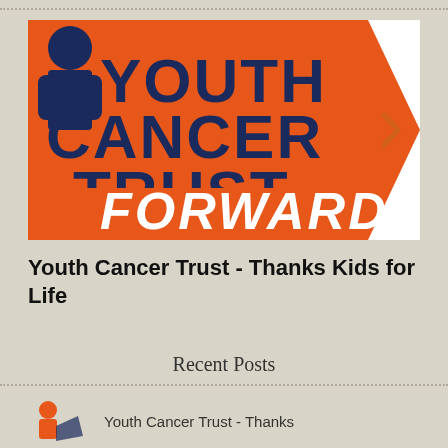[Figure (logo): Youth Cancer Trust Forward logo — orange arrow-shaped background with dark navy blue text reading YOUTH CANCER TRUST and white italic text FORWARD]
Youth Cancer Trust - Thanks Kids for Life
Recent Posts
[Figure (logo): Small Youth Cancer Trust logo thumbnail]
Youth Cancer Trust - Thanks